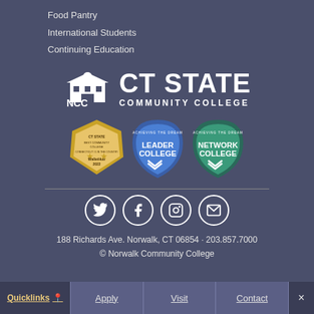Food Pantry
International Students
Continuing Education
[Figure (logo): CT State NCC Community College logo with building icon and text]
[Figure (illustration): Three badges: WalletHub 2022 Best Community College #1 in the Country, Achieving the Dream Leader College, Achieving the Dream Network College]
[Figure (illustration): Social media icons: Twitter, Facebook, Instagram, Email]
188 Richards Ave. Norwalk, CT 06854 · 203.857.7000
© Norwalk Community College
Quicklinks | Apply | Visit | Contact | ×